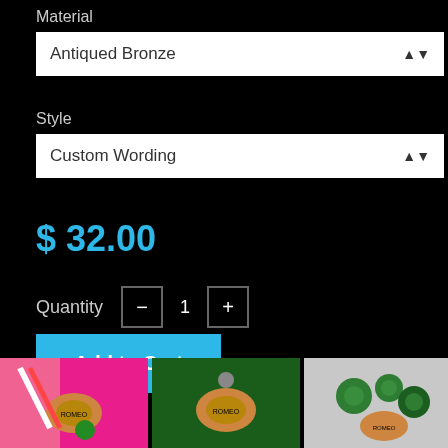Material
Antiqued Bronze
Style
Custom Wording
$ 32.00
Quantity   -   1   +
Add to Cart
[Figure (photo): Three thumbnail product photos showing engraved pet tags with green jingle bells on various backgrounds]